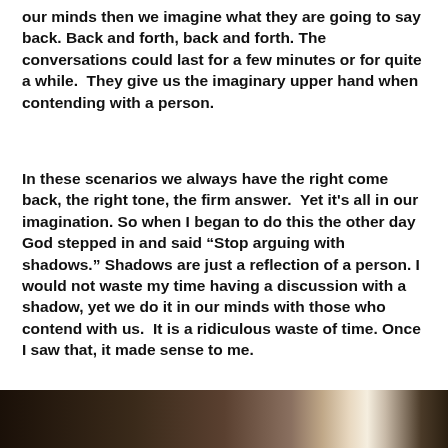our minds then we imagine what they are going to say back. Back and forth, back and forth. The conversations could last for a few minutes or for quite a while.  They give us the imaginary upper hand when contending with a person.
In these scenarios we always have the right come back, the right tone, the firm answer.  Yet it’s all in our imagination. So when I began to do this the other day God stepped in and said “Stop arguing with shadows.” Shadows are just a reflection of a person. I would not waste my time having a discussion with a shadow, yet we do it in our minds with those who contend with us.  It is a ridiculous waste of time. Once I saw that, it made sense to me.
[Figure (photo): Dark photograph partially visible at the bottom of the page, showing what appears to be a dark interior scene]